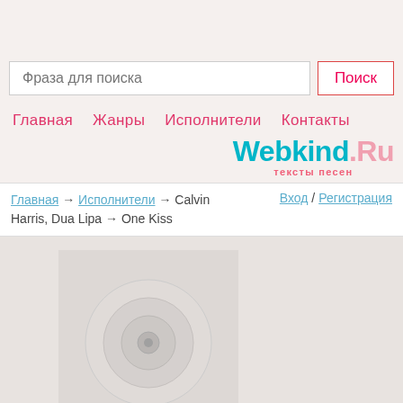[Figure (screenshot): Website header with search bar showing placeholder text 'Фраза для поиска' and a 'Поиск' button]
Главная   Жанры   Исполнители   Контакты
Webkind.Ru — тексты песен
Главная → Исполнители → Calvin Harris, Dua Lipa → One Kiss
Вход / Регистрация
[Figure (illustration): Album art placeholder showing a CD disc icon on a grey background]